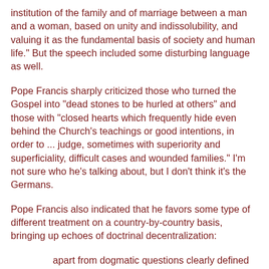institution of the family and of marriage between a man and a woman, based on unity and indissolubility, and valuing it as the fundamental basis of society and human life." But the speech included some disturbing language as well.
Pope Francis sharply criticized those who turned the Gospel into "dead stones to be hurled at others" and those with "closed hearts which frequently hide even behind the Church's teachings or good intentions, in order to ... judge, sometimes with superiority and superficiality, difficult cases and wounded families." I'm not sure who he's talking about, but I don't think it's the Germans.
Pope Francis also indicated that he favors some type of different treatment on a country-by-country basis, bringing up echoes of doctrinal decentralization:
apart from dogmatic questions clearly defined by the Church's Magisterium – we have also seen that what seems normal for a bishop on one continent, is considered strange and almost scandalous for a bishop from another; what is